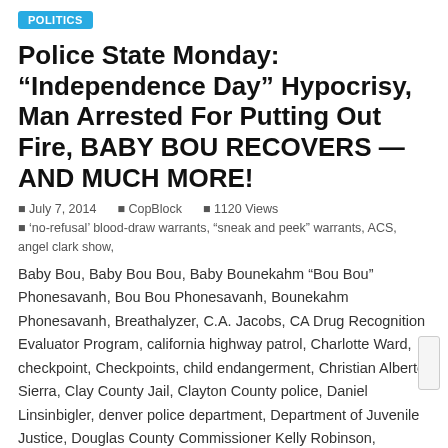POLITICS
Police State Monday: “Independence Day” Hypocrisy, Man Arrested For Putting Out Fire, BABY BOU RECOVERS — AND MUCH MORE!
July 7, 2014   CopBlock   1120 Views   ‘no-refusal’ blood-draw warrants, “sneak and peek” warrants, ACS, angel clark show, Baby Bou, Baby Bou Bou, Baby Bounekahm “Bou Bou” Phonesavanh, Bou Bou Phonesavanh, Bounekahm Phonesavanh, Breathalyzer, C.A. Jacobs, CA Drug Recognition Evaluator Program, california highway patrol, Charlotte Ward, checkpoint, Checkpoints, child endangerment, Christian Alberto Sierra, Clay County Jail, Clayton County police, Daniel Linsinbigler, denver police department, Department of Juvenile Justice, Douglas County Commissioner Kelly Robinson, Douglas County Courthouse, DRE, Dreamland Pool, dui, Fernando Davis, fireworks, Habersham County, Henry County police, Jason Thornton, Jeffrey Williamson, Justin Williamson, Kelly Thomas, Larry Wayne Dodson, Lisa Yeager,